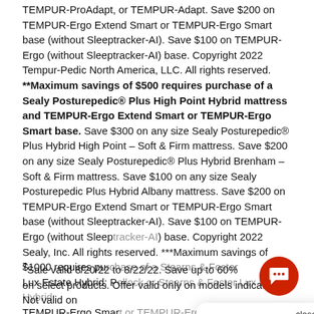TEMPUR-ProAdapt, or TEMPUR-Adapt. Save $200 on TEMPUR-Ergo Extend Smart or TEMPUR-Ergo Smart base (without Sleeptracker-AI). Save $100 on TEMPUR-Ergo (without Sleeptracker-AI) base. Copyright 2022 Tempur-Pedic North America, LLC. All rights reserved. **Maximum savings of $500 requires purchase of a Sealy Posturepedic® Plus High Point Hybrid mattress and TEMPUR-Ergo Extend Smart or TEMPUR-Ergo Smart base. Save $300 on any size Sealy Posturepedic® Plus Hybrid High Point – Soft & Firm mattress. Save $200 on any size Sealy Posturepedic® Plus Hybrid Brenham – Soft & Firm mattress. Save $100 on any size Sealy Posturepedic Plus Hybrid Albany mattress. Save $200 on TEMPUR-Ergo Extend Smart or TEMPUR-Ergo Smart base (without Sleeptracker-AI). Save $100 on TEMPUR-Ergo (without Sleeptracker-AI) base. Copyright 2022 Sealy, Inc. All rights reserved. ***Maximum savings of $1000 requires purchase of a Stearns & Foster Lux Estate Hybrid: Pollock or Stearns & Foster Lux Estate Hybrid: Hepburn or Lux Estate mattress and TEMPUR-Ergo Smart or TEMPUR-Ergo Extend Smart base (without Sleeptracker-AI) available at time of purchase. Cannot be combined with other offers or prior purchases. See store for availability and details. Copyright 2022 Sealy, Inc. All rights reserved. Visit a store, call (877) 316-1269 or chat online for complete details.
[Figure (screenshot): Chat popup overlay with close button, showing a female avatar and message 'Hi there, have a question? Text a local Sleep Expert® here.']
7Sale valid 8/20/22 to 8/22/22. Save up to 60% on select products. Offer valid only on models indicated. Not valid on